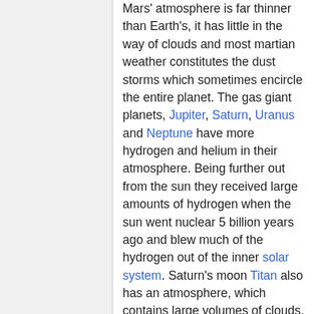Mars' atmosphere is far thinner than Earth's, it has little in the way of clouds and most martian weather constitutes the dust storms which sometimes encircle the entire planet. The gas giant planets, Jupiter, Saturn, Uranus and Neptune have more hydrogen and helium in their atmosphere. Being further out from the sun they received large amounts of hydrogen when the sun went nuclear 5 billion years ago and blew much of the hydrogen out of the inner solar system. Saturn's moon Titan also has an atmosphere, which contains large volumes of clouds, making the world extremely difficult to study without landing there. For that reason the Cassini mission included a lander which landed on Titan, sending back images and data from the surface.